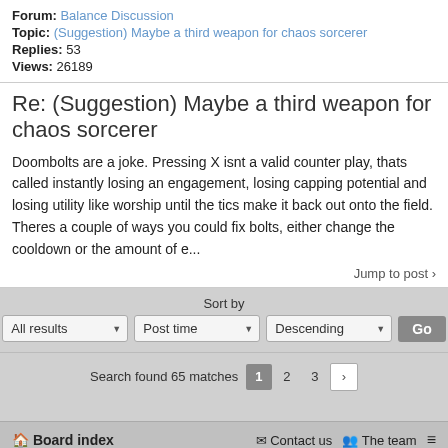Forum: Balance Discussion
Topic: (Suggestion) Maybe a third weapon for chaos sorcerer
Replies: 53
Views: 26189
Re: (Suggestion) Maybe a third weapon for chaos sorcerer
Doombolts are a joke. Pressing X isnt a valid counter play, thats called instantly losing an engagement, losing capping potential and losing utility like worship until the tics make it back out onto the field. Theres a couple of ways you could fix bolts, either change the cooldown or the amount of e...
Jump to post ›
Sort by
All results  Post time  Descending  Go
Search found 65 matches  1  2  3  ›
Board index  Contact us  The team  ≡
Powered by phpBB® Forum Software © phpBB Limited Color scheme created with Colorize It.
Style by Arty
GZIP: Off